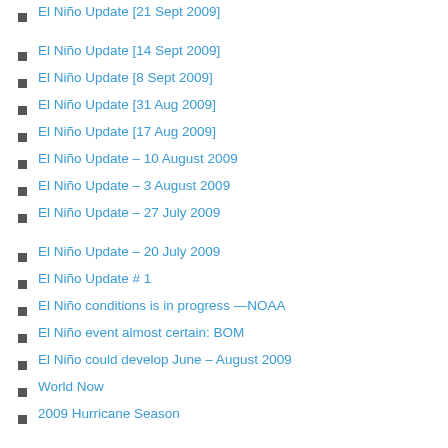El Niño Update [21 Sept 2009]
El Niño Update [14 Sept 2009]
El Niño Update [8 Sept 2009]
El Niño Update [31 Aug 2009]
El Niño Update [17 Aug 2009]
El Niño Update – 10 August 2009
El Niño Update – 3 August 2009
El Niño Update – 27 July 2009
El Niño Update – 20 July 2009
El Niño Update # 1
El Niño conditions is in progress —NOAA
El Niño event almost certain: BOM
El Niño could develop June – August 2009
World Now
2009 Hurricane Season